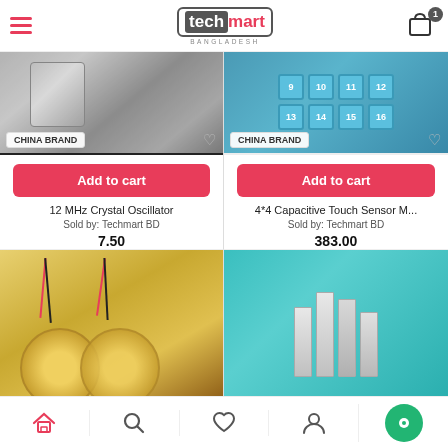techmart BANGLADESH — Cart: 1 item
[Figure (photo): 12 MHz Crystal Oscillator product photo — metallic can oscillator component close-up]
CHINA BRAND
Add to cart
12 MHz Crystal Oscillator
Sold by: Techmart BD
7.50
[Figure (photo): 4*4 Capacitive Touch Sensor Matrix product photo — blue numbered keypad grid showing numbers 9-16]
CHINA BRAND
Add to cart
4*4 Capacitive Touch Sensor M...
Sold by: Techmart BD
383.00
[Figure (photo): Piezo buzzer discs with red and black wires — partial view]
[Figure (photo): Aluminum heatsink components on teal background — partial view]
Home | Search | Wishlist | Account | Pages | Chat